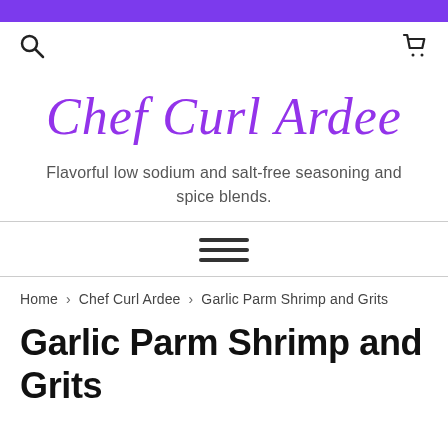Chef Curl Ardee — purple bar navigation header
[Figure (logo): Chef Curl Ardee logo in purple cursive/script font]
Flavorful low sodium and salt-free seasoning and spice blends.
[Figure (other): Hamburger menu icon (three horizontal lines)]
Home › Chef Curl Ardee › Garlic Parm Shrimp and Grits
Garlic Parm Shrimp and Grits